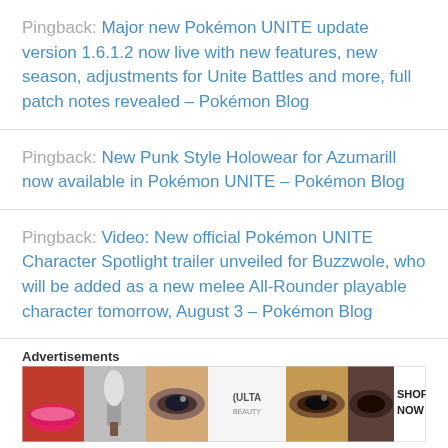Pingback: Major new Pokémon UNITE update version 1.6.1.2 now live with new features, new season, adjustments for Unite Battles and more, full patch notes revealed – Pokémon Blog
Pingback: New Punk Style Holowear for Azumarill now available in Pokémon UNITE – Pokémon Blog
Pingback: Video: New official Pokémon UNITE Character Spotlight trailer unveiled for Buzzwole, who will be added as a new melee All-Rounder playable character tomorrow, August 3 – Pokémon Blog
Advertisements
[Figure (photo): Ulta Beauty advertisement banner with makeup imagery including lips, makeup brush, eyes, Ulta Beauty logo, and SHOP NOW text]